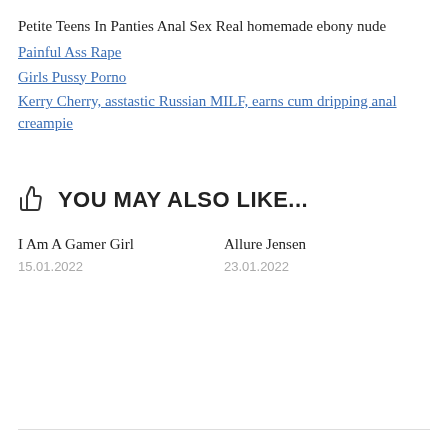Petite Teens In Panties Anal Sex Real homemade ebony nude
Painful Ass Rape
Girls Pussy Porno
Kerry Cherry, asstastic Russian MILF, earns cum dripping anal creampie
YOU MAY ALSO LIKE...
I Am A Gamer Girl
15.01.2022
Allure Jensen
23.01.2022